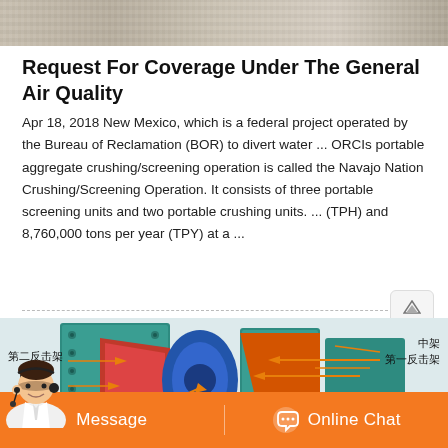[Figure (photo): Gray stone/concrete surface texture image at top of page]
Request For Coverage Under The General Air Quality
Apr 18, 2018 New Mexico, which is a federal project operated by the Bureau of Reclamation (BOR) to divert water ... ORCIs portable aggregate crushing/screening operation is called the Navajo Nation Crushing/Screening Operation. It consists of three portable screening units and two portable crushing units. ... (TPH) and 8,760,000 tons per year (TPY) at a ...
[Figure (engineering-diagram): Cutaway engineering diagram of an impact crusher machine with Chinese labels: 中架 (middle frame), 第一反击架 (first impact frame), 后架 (rear frame), 第二反击架 (second impact frame). The machine is shown in teal/green, blue, and orange colors with internal components visible.]